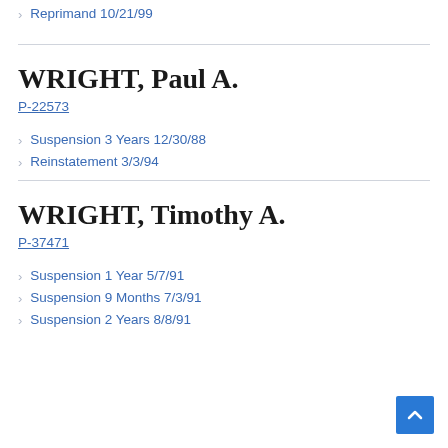Reprimand 10/21/99
WRIGHT, Paul A.
P-22573
Suspension 3 Years 12/30/88
Reinstatement 3/3/94
WRIGHT, Timothy A.
P-37471
Suspension 1 Year 5/7/91
Suspension 9 Months 7/3/91
Suspension 2 Years 8/8/91